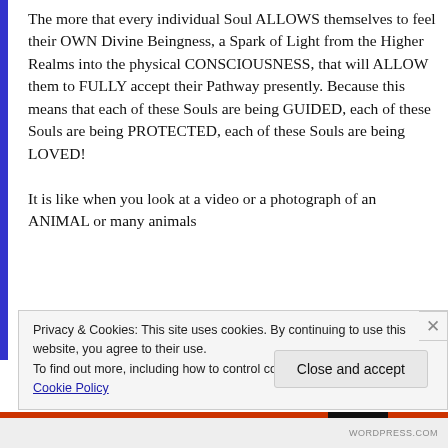The more that every individual Soul ALLOWS themselves to feel their OWN Divine Beingness, a Spark of Light from the Higher Realms into the physical CONSCIOUSNESS, that will ALLOW them to FULLY accept their Pathway presently. Because this means that each of these Souls are being GUIDED, each of these Souls are being PROTECTED, each of these Souls are being LOVED!
It is like when you look at a video or a photograph of an ANIMAL or many animals
Privacy & Cookies: This site uses cookies. By continuing to use this website, you agree to their use.
To find out more, including how to control cookies, see here:
Cookie Policy
Close and accept